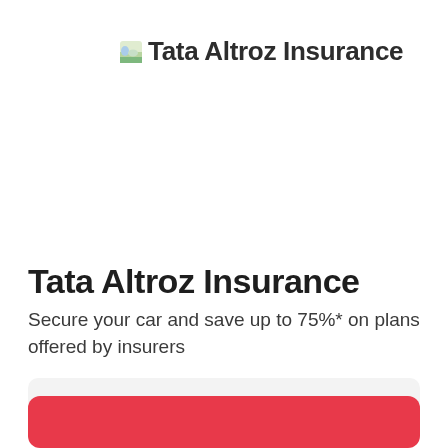[Figure (logo): Tata Altroz Insurance logo with small car/landscape icon and brand name text]
Tata Altroz Insurance
Secure your car and save up to 75%* on plans offered by insurers
Your car number ex DL-12-AB-2345
[Figure (other): Red CTA button partially visible at bottom of page]